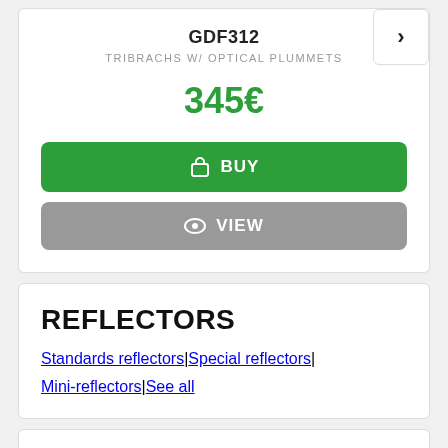GDF312
TRIBRACHS W/ OPTICAL PLUMMETS
345€
BUY
VIEW
REFLECTORS
Standards reflectors
Special reflectors
Mini-reflectors
See all